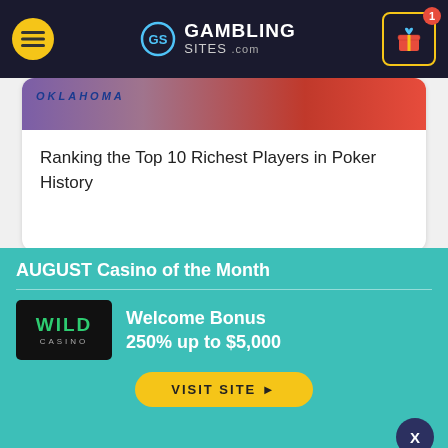GambingSites.com
Ranking the Top 10 Richest Players in Poker History
[Figure (screenshot): KFC BBL Big Bash League odds promotional article thumbnail with dark background showing LEAGUE text on left, KFC BBL logo in center, and ODDS text on right]
AUGUST Casino of the Month
Welcome Bonus 250% up to $5,000
VISIT SITE ▶